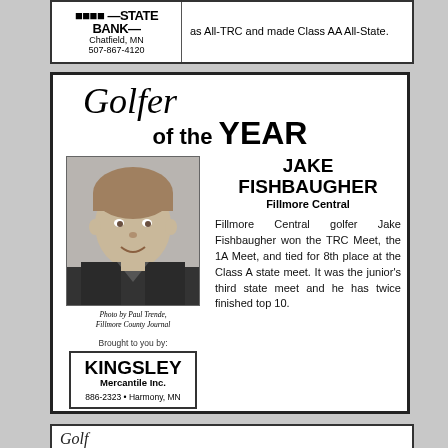[Figure (infographic): Top partial advertisement banner for a state bank in Chatfield, MN with phone number 507-867-4120, and partial text 'as All-TRC and made Class AA All-State.']
[Figure (infographic): Golfer of the Year award box featuring Jake Fishbaugher from Fillmore Central. Includes script 'Golfer' heading, 'of the YEAR' bold text, black and white photo of a young male student, photo credit to Paul Trende, Fillmore County Journal, sponsored by Kingsley Mercantile Inc. 886-2323, Harmony MN. Descriptive text: Fillmore Central golfer Jake Fishbaugher won the TRC Meet, the 1A Meet, and tied for 8th place at the Class A state meet. It was the junior's third state meet and he has twice finished top 10.]
Photo by Paul Trende, Fillmore County Journal
Brought to you by:
KINGSLEY Mercantile Inc. 886-2323 • Harmony, MN
Fillmore Central golfer Jake Fishbaugher won the TRC Meet, the 1A Meet, and tied for 8th place at the Class A state meet. It was the junior's third state meet and he has twice finished top 10.
[Figure (infographic): Bottom partial advertisement box, partially visible at the bottom of the page.]